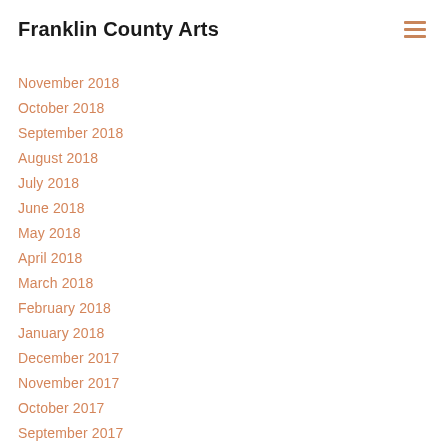Franklin County Arts
November 2018
October 2018
September 2018
August 2018
July 2018
June 2018
May 2018
April 2018
March 2018
February 2018
January 2018
December 2017
November 2017
October 2017
September 2017